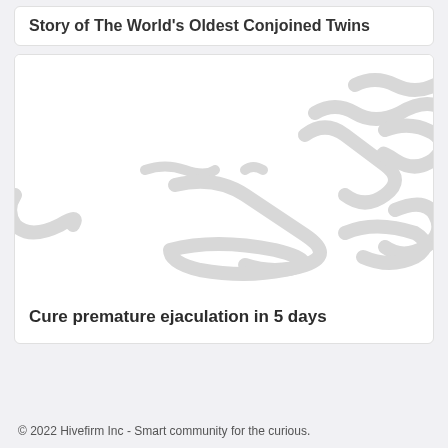Story of The World's Oldest Conjoined Twins
[Figure (illustration): Placeholder image with wavy grey squiggle lines on white background, representing a loading or skeleton image placeholder for an article thumbnail]
Cure premature ejaculation in 5 days
© 2022 Hivefirm Inc - Smart community for the curious.